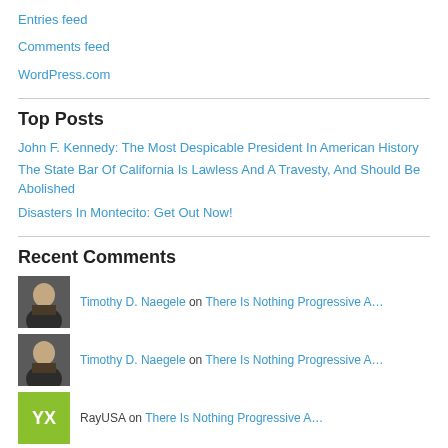Entries feed
Comments feed
WordPress.com
Top Posts
John F. Kennedy: The Most Despicable President In American History
The State Bar Of California Is Lawless And A Travesty, And Should Be Abolished
Disasters In Montecito: Get Out Now!
Recent Comments
Timothy D. Naegele on There Is Nothing Progressive A…
Timothy D. Naegele on There Is Nothing Progressive A…
RayUSA on There Is Nothing Progressive A…